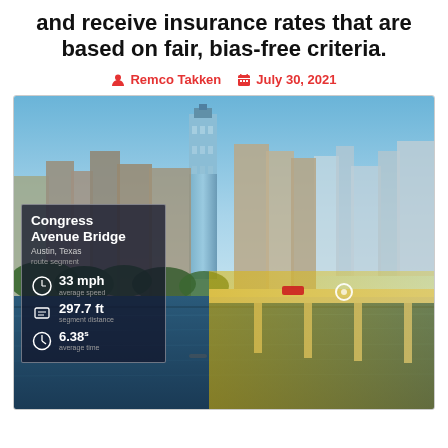and receive insurance rates that are based on fair, bias-free criteria.
Remco Takken  July 30, 2021
[Figure (photo): Aerial photo of Austin, Texas skyline with Congress Avenue Bridge over Lady Bird Lake. An overlay box shows route segment data: Congress Avenue Bridge, Austin Texas, 33 mph average speed, 297.7 ft segment distance, 6.38s average time. Yellow highlight over the bridge area.]